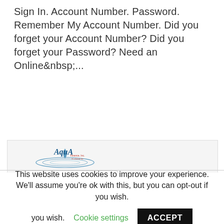Sign In. Account Number. Password. Remember My Account Number. Did you forget your Account Number? Did you forget your Password? Need an Online ...
[Figure (screenshot): Screenshot of Aqua Finance, Inc. sign-in page showing fields for Account Number and Password, a Remember My Account Number checkbox, Sign In button, forgot account/password links, and an Enroll Now button for online billing account. Footer has Contact Us, Learn More, and Customer Agreement links plus a CAPTCHA widget.]
This website uses cookies to improve your experience. We'll assume you're ok with this, but you can opt-out if you wish. Cookie settings ACCEPT